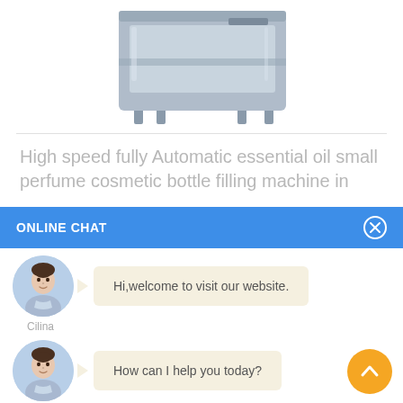[Figure (photo): A stainless steel high-speed filling machine, partially cropped at top, on a white background.]
High speed fully Automatic essential oil small perfume cosmetic bottle filling machine in
[Figure (screenshot): Online chat overlay with blue header bar labeled ONLINE CHAT with close button, two chat rows each showing a female avatar (Cilina) and a speech bubble message. First message: Hi,welcome to visit our website. Second message: How can I help you today? An orange scroll-up button is at bottom-right.]